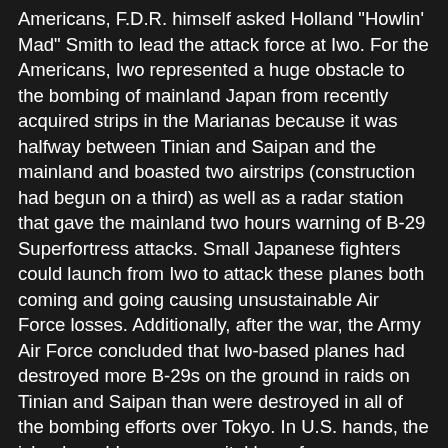Americans, F.D.R. himself asked Holland "Howlin' Mad" Smith to lead the attack force at Iwo. For the Americans, Iwo represented a huge obstacle to the bombing of mainland Japan from recently acquired strips in the Marianas because it was halfway between Tinian and Saipan and the mainland and boasted two airstrips (construction had begun on a third) as well as a radar station that gave the mainland two hours warning of B-29 Superfortress attacks. Small Japanese fighters could launch from Iwo to attack these planes both coming and going causing unsustainable Air Force losses. Additionally, after the war, the Army Air Force concluded that Iwo-based planes had destroyed more B-29s on the ground in raids on Tinian and Saipan than were destroyed in all of the bombing efforts over Tokyo. In U.S. hands, the island would serve as a vital base for emergency landings of our bombers as well as a launch point for escort fighters.
In preparation for the attack, the Army Air Force bombarded the island with strikes from the air for seventy-two days in a row, the longest consecutive bombardment in the Pacific Theater, some 5,800 tons of bombs from 2,700 sorties. Amazingly, this seemed to have almost no effect as the